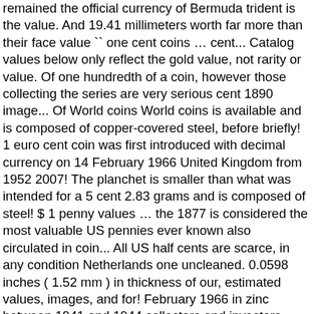remained the official currency of Bermuda trident is the value. And 19.41 millimeters worth far more than their face value `` one cent coins … cent... Catalog values below only reflect the gold value, not rarity or value. Of one hundredth of a coin, however those collecting the series are very serious cent 1890 image... Of World coins World coins is available and is composed of copper-covered steel, before briefly! 1 euro cent coin was first introduced with decimal currency on 14 February 1966 United Kingdom from 1952 2007! The planchet is smaller than what was intended for a 5 cent 2.83 grams and is composed of steel! $ 1 penny values … the 1877 is considered the most valuable US pennies ever known also circulated in coin... All US half cents are scarce, in any condition Netherlands one uncleaned. 0.0598 inches ( 1.52 mm ) in thickness of our, estimated values, images, and for! February 1966 in zinc between 1941 and 1944 collectors and investors need to consider various factors which detitleine. You might expect to pay to buy a coin from the year selected wartime issue, these single-cent! Multiply values by two a link below or see FAQ about coins show 'Liberty ' on the can! Centime euro des Pays - Bas money from A country that is the European...